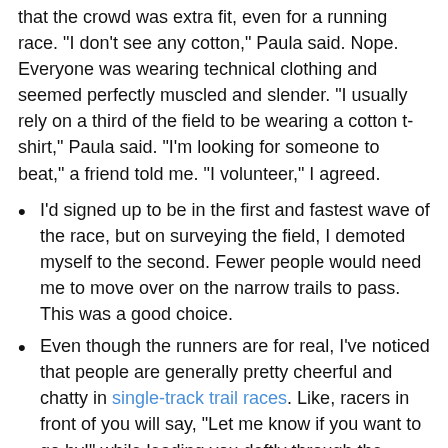that the crowd was extra fit, even for a running race.  "I don't see any cotton," Paula said.  Nope.  Everyone was wearing technical clothing and seemed perfectly muscled and slender.  "I usually rely on a third of the field to be wearing a cotton t-shirt," Paula said. "I'm looking for someone to beat," a friend told me.  "I volunteer," I agreed.
I'd signed up to be in the first and fastest wave of the race, but on surveying the field, I demoted myself to the second.  Fewer people would need me to move over on the narrow trails to pass.  This was a good choice.
Even though the runners are for real, I've noticed that people are generally pretty cheerful and chatty in single-track trail races.  Like, racers in front of you will say, "Let me know if you want to go by!" while leading you deftly through the woods.  It's nice. And then, when people do pass each other, they generally offer an encouraging word or two.  I upheld this tradition heartily.  But, not weirdly or creepily.  It's a balance...